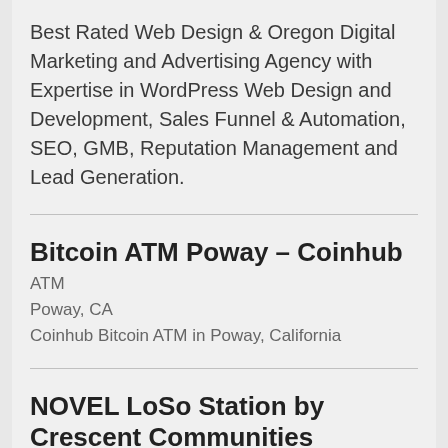Best Rated Web Design & Oregon Digital Marketing and Advertising Agency with Expertise in WordPress Web Design and Development, Sales Funnel & Automation, SEO, GMB, Reputation Management and Lead Generation.
Bitcoin ATM Poway – Coinhub
ATM
Poway, CA
Coinhub Bitcoin ATM in Poway, California
NOVEL LoSo Station by Crescent Communities